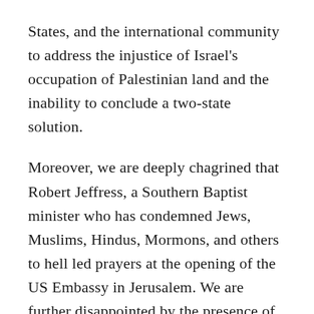States, and the international community to address the injustice of Israel's occupation of Palestinian land and the inability to conclude a two-state solution.
Moreover, we are deeply chagrined that Robert Jeffress, a Southern Baptist minister who has condemned Jews, Muslims, Hindus, Mormons, and others to hell led prayers at the opening of the US Embassy in Jerusalem. We are further disappointed by the presence of evangelical pastor John Hagee, a proponent of the